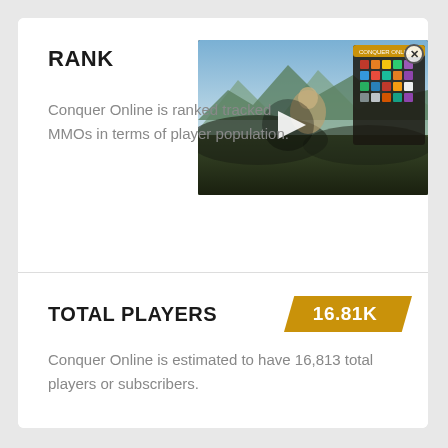RANK
[Figure (screenshot): Video thumbnail showing a fantasy game scene with a play button overlay and a close button]
Conquer Online is ranked tracked MMOs in terms of player population.
TOTAL PLAYERS
16.81K
Conquer Online is estimated to have 16,813 total players or subscribers.